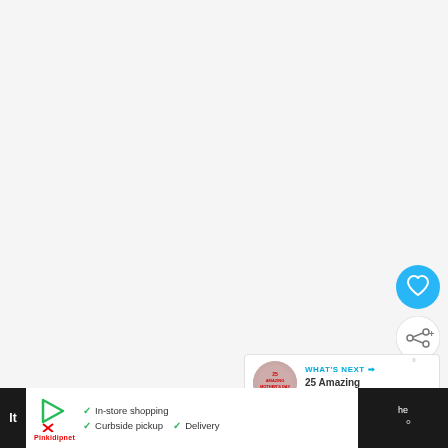[Figure (screenshot): Large light gray empty content area taking up most of the page]
[Figure (infographic): Blue circular heart/favorite button icon]
[Figure (infographic): White circular share button with share icon]
[Figure (screenshot): What's Next panel showing thumbnail and text '25 Amazing Mother's Da...']
WHAT'S NEXT → 25 Amazing Mother's Da...
[Figure (logo): Small logo bottom right area 'w°']
[Figure (screenshot): Advertisement banner at bottom: In-store shopping, Curbside pickup, Delivery with navigation icon]